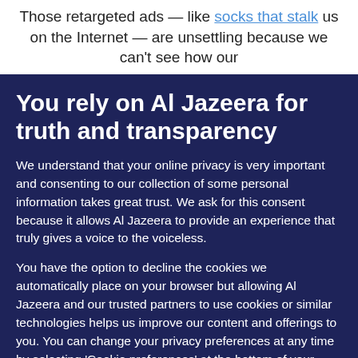Those retargeted ads — like socks that stalk us on the Internet — are unsettling because we can't see how our
You rely on Al Jazeera for truth and transparency
We understand that your online privacy is very important and consenting to our collection of some personal information takes great trust. We ask for this consent because it allows Al Jazeera to provide an experience that truly gives a voice to the voiceless.
You have the option to decline the cookies we automatically place on your browser but allowing Al Jazeera and our trusted partners to use cookies or similar technologies helps us improve our content and offerings to you. You can change your privacy preferences at any time by selecting ‘Cookie preferences’ at the bottom of your screen. To learn more, please view our Cookie Policy.